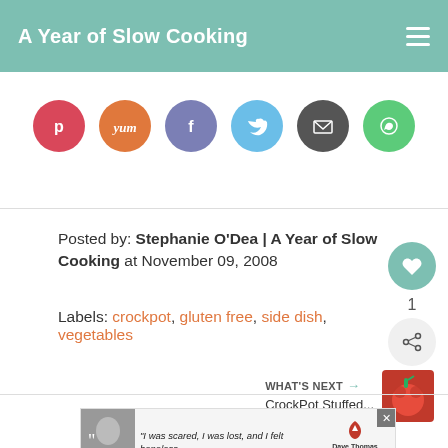A Year of Slow Cooking
[Figure (infographic): Row of 6 social sharing circular icon buttons: Pinterest (red/pink), Yummly (orange), Facebook (muted blue/purple), Twitter (light blue), Email (dark gray), WhatsApp (green)]
Posted by: Stephanie O'Dea | A Year of Slow Cooking at November 09, 2008
Labels: crockpot, gluten free, side dish, vegetables
[Figure (photo): Small thumbnail photo of stuffed tomatoes, shown next to 'WHAT'S NEXT' label and 'CrockPot Stuffed...' link]
[Figure (screenshot): Advertisement banner: black and white photo of woman with quote 'I was scared, I was lost, and I felt hopeless.' with Dave Thomas Foundation for Adoption logo]